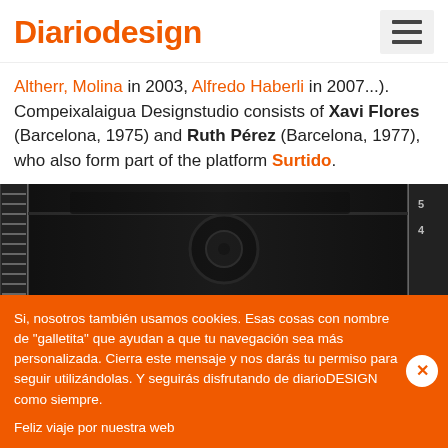Diariodesign
Altherr, Molina in 2003, Alfredo Haberli in 2007...). Compeixalaigua Designstudio consists of Xavi Flores (Barcelona, 1975) and Ruth Pérez (Barcelona, 1977), who also form part of the platform Surtido.
[Figure (photo): Interior view of an oven showing the back wall with a fan, metal racks on the left side, and numbered shelf guides on the right side.]
Si, nosotros también usamos cookies. Esas cosas con nombre de "galletita" que ayudan a que tu navegación sea más personalizada. Cierra este mensaje y nos darás tu permiso para seguir utilizándolas. Y seguirás disfrutando de diarioDESIGN como siempre.

Feliz viaje por nuestra web